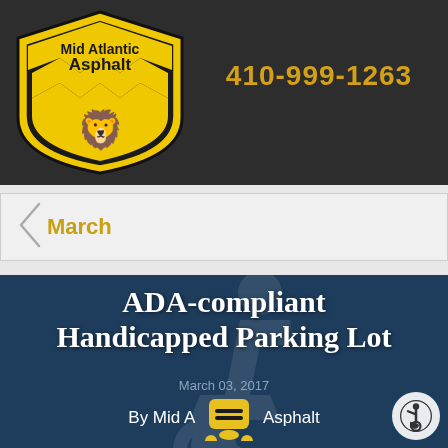[Figure (logo): Mid Atlantic Asphalt shield logo — yellow and black heraldic shield with lion and chevron pattern, text 'Mid Atlantic Asphalt']
410-999-1263
March
[Figure (photo): ADA handicapped parking lot sign / blue background with grey wheelchair symbol. Article banner image with white bold text 'ADA-compliant Handicapped Parking Lot', date 'March 03, 2017', byline 'By Mid Atlantic Asphalt', yellow notification badge overlay, and accessibility icon circle in bottom right.]
ADA-compliant Handicapped Parking Lot
March 03, 2017
By Mid Atlantic Asphalt